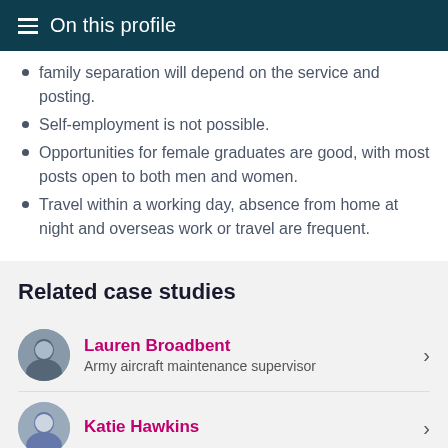On this profile
family separation will depend on the service and posting.
Self-employment is not possible.
Opportunities for female graduates are good, with most posts open to both men and women.
Travel within a working day, absence from home at night and overseas work or travel are frequent.
Related case studies
Lauren Broadbent
Army aircraft maintenance supervisor
Katie Hawkins